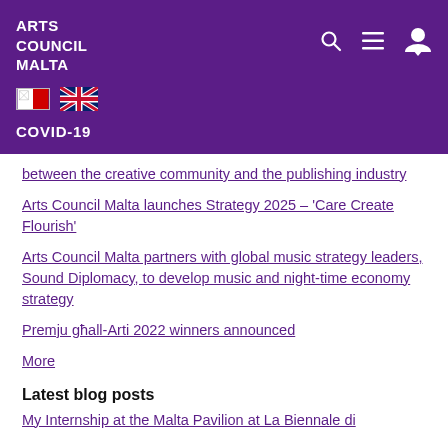ARTS COUNCIL MALTA
COVID-19
between the creative community and the publishing industry
Arts Council Malta launches Strategy 2025 – 'Care Create Flourish'
Arts Council Malta partners with global music strategy leaders, Sound Diplomacy, to develop music and night-time economy strategy
Premju għall-Arti 2022 winners announced
More
Latest blog posts
My Internship at the Malta Pavilion at La Biennale di